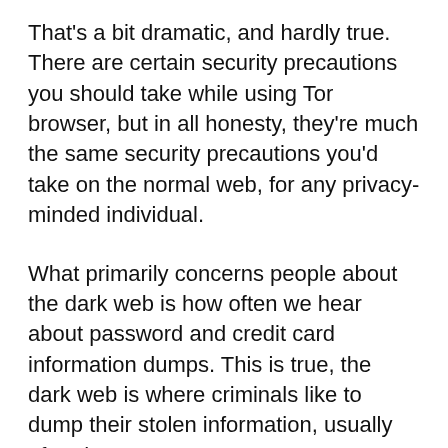That's a bit dramatic, and hardly true. There are certain security precautions you should take while using Tor browser, but in all honesty, they're much the same security precautions you'd take on the normal web, for any privacy-minded individual.
What primarily concerns people about the dark web is how often we hear about password and credit card information dumps. This is true, the dark web is where criminals like to dump their stolen information, usually after they can't get any ransom money for it from the company they've stolen the information from. Or for proving to their criminal peers what they're capable of.
Dark web monitoring tools are useful because they scour the dark web and can alert you if any of your personally identifiable information has been leaked in